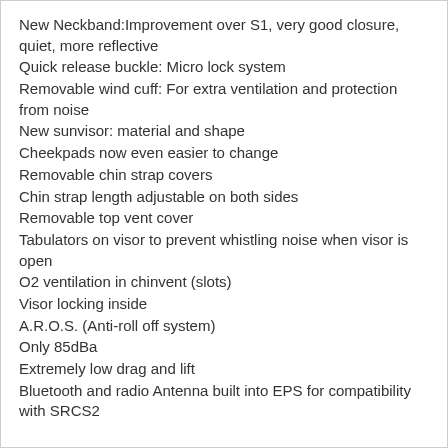New Neckband:Improvement over S1, very good closure, quiet, more reflective
Quick release buckle: Micro lock system
Removable wind cuff: For extra ventilation and protection from noise
New sunvisor: material and shape
Cheekpads now even easier to change
Removable chin strap covers
Chin strap length adjustable on both sides
Removable top vent cover
Tabulators on visor to prevent whistling noise when visor is open
O2 ventilation in chinvent (slots)
Visor locking inside
A.R.O.S. (Anti-roll off system)
Only 85dBa
Extremely low drag and lift
Bluetooth and radio Antenna built into EPS for compatibility with SRCS2
2 Year Warranty